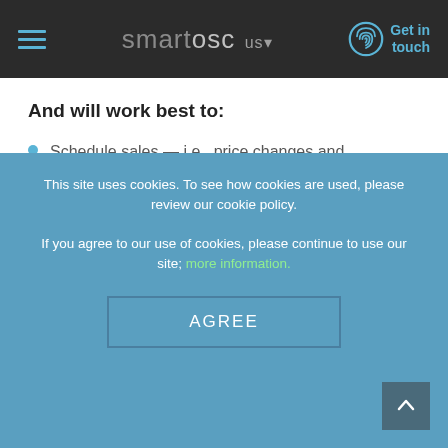smartosc us — Get in touch
And will work best to:
Schedule sales — i.e., price changes and promotions — for predetermined time periods
Preload new products and publish them to your store, social media, apps, and sales channels simultaneously
Tag high-value customers and notify customer service to send personalized
This site uses cookies. To see how cookies are used, please review our cookie policy.
If you agree to our use of cookies, please continue to use our site; more information.
AGREE